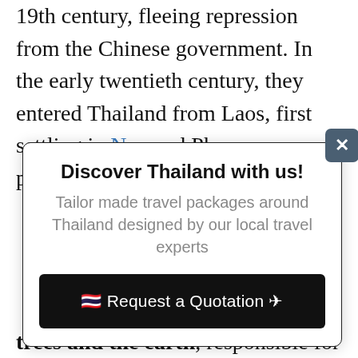19th century, fleeing repression from the Chinese government. In the early twentieth century, they entered Thailand from Laos, first settling in Nan and Phayao provinces.
[Figure (other): A popup advertisement box with title 'Discover Thailand with us!', subtitle 'Tailor made travel packages around Thailand designed by our local travel experts', a black button labeled '🇹🇭 Request a Quotation ✈', and a close (X) button in the top-right corner.]
trees and the earth, responsible for